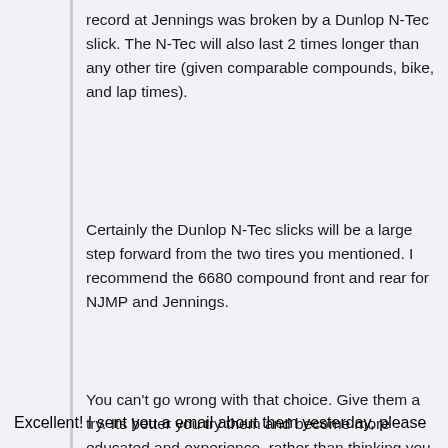record at Jennings was broken by a Dunlop N-Tec slick. The N-Tec will also last 2 times longer than any other tire (given comparable compounds, bike, and lap times).
Certainly the Dunlop N-Tec slicks will be a large step forward from the two tires you mentioned. I recommend the 6680 compound front and rear for NJMP and Jennings.
You can't go wrong with that choice. Give them a try. Its better you try them and become more educated and experience, rather than thinking you should have.
Excellent! I sent you a email about them yesterday, please